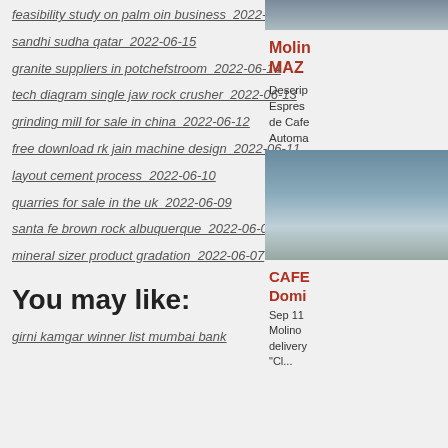feasibility study on palm oin business  2022-06-16
sandhi sudha qatar  2022-06-15
granite suppliers in potchefstroom  2022-06-14
tech diagram single jaw rock crusher  2022-06-13
grinding mill for sale in china  2022-06-12
free download rk jain machine design  2022-06-11
layout cement process  2022-06-10
quarries for sale in the uk  2022-06-09
santa fe brown rock albuquerque  2022-06-08
mineral sizer product gradation  2022-06-07
You may like:
girni kamgar winner list mumbai bank
[Figure (photo): Partial top image on right side]
Molino MAZZ
Descrip... Espres... de Cafe Automa...
[Figure (photo): Mid right image showing construction/quarry scene]
CAFE Domi...
Sep 11 Molino delivery...